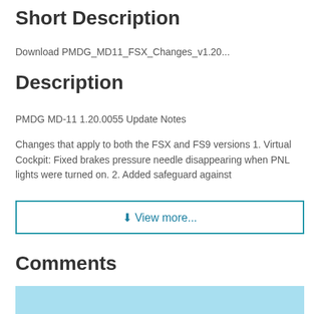Short Description
Download PMDG_MD11_FSX_Changes_v1.20...
Description
PMDG MD-11 1.20.0055 Update Notes
Changes that apply to both the FSX and FS9 versions 1. Virtual Cockpit: Fixed brakes pressure needle disappearing when PNL lights were turned on. 2. Added safeguard against
⬇ View more...
Comments
[Figure (other): Blue background panel with SUPPORT KUPDF button]